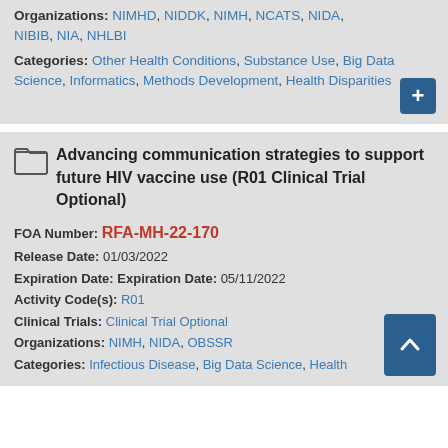Organizations: NIMHD, NIDDK, NIMH, NCATS, NIDA, NIBIB, NIA, NHLBI
Categories: Other Health Conditions, Substance Use, Big Data Science, Informatics, Methods Development, Health Disparities
Advancing communication strategies to support future HIV vaccine use (R01 Clinical Trial Optional)
FOA Number: RFA-MH-22-170
Release Date: 01/03/2022
Expiration Date: Expiration Date: 05/11/2022
Activity Code(s): R01
Clinical Trials: Clinical Trial Optional
Organizations: NIMH, NIDA, OBSSR
Categories: Infectious Disease, Big Data Science, Health